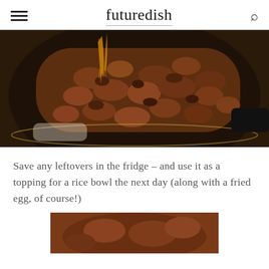futuredish
[Figure (photo): Close-up photo of seasoned ground meat being cooked in a dark non-stick pan, with a sauce being poured over it from above. The meat is browned and crumbled.]
Save any leftovers in the fridge – and use it as a topping for a rice bowl the next day (along with a fried egg, of course!)
[Figure (photo): Bottom portion of a second food photo, partially cropped, showing a dish in a pan.]